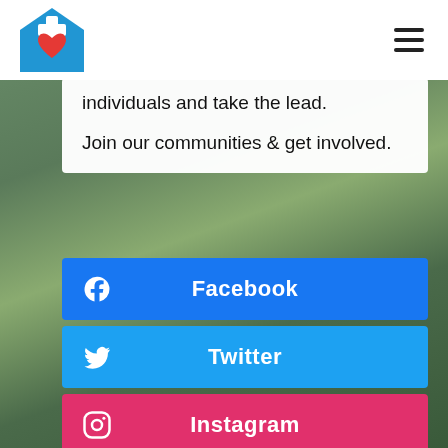[Figure (logo): Healthcare logo with blue cross over a house shape and red heart]
individuals and take the lead.
Join our communities & get involved.
Facebook
Twitter
Instagram
Pinterest